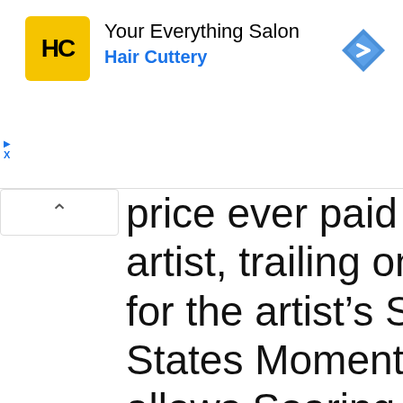[Figure (screenshot): Advertisement banner for Hair Cuttery salon showing yellow HC logo, text 'Your Everything Salon / Hair Cuttery', and a blue diamond navigation icon]
price ever paid for … artist, trailing only th… for the artist’s Sere… States Moments of … allows Soaring like a… High-, 2012 in Marc… Heritage Auctions.